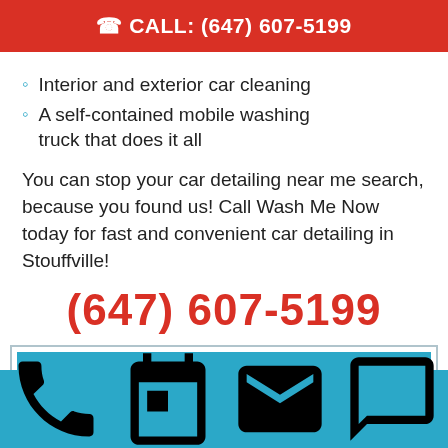CALL: (647) 607-5199
Interior and exterior car cleaning
A self-contained mobile washing truck that does it all
You can stop your car detailing near me search, because you found us! Call Wash Me Now today for fast and convenient car detailing in Stouffville!
(647) 607-5199
BOOK TODAY
Call Now  Book Now  Contact Us  Our Reviews